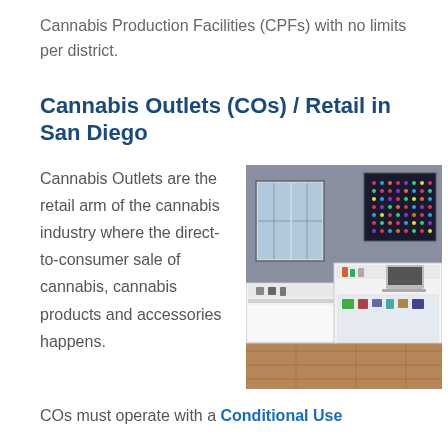Cannabis Production Facilities (CPFs) with no limits per district.
Cannabis Outlets (COs) / Retail in San Diego
Cannabis Outlets are the retail arm of the cannabis industry where the direct-to-consumer sale of cannabis, cannabis products and accessories happens.
[Figure (photo): Interior of a cannabis retail dispensary showing white display counters with products, wood floors, windows, and a decorative LED panel on the wall.]
COs must operate with a Conditional Use